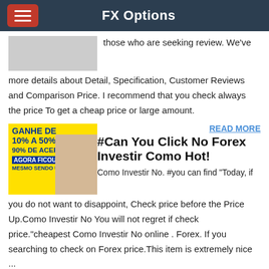FX Options
Como Investir No. #you can find "Today, if those who are seeking review. We've more details about Detail, Specification, Customer Reviews and Comparison Price. I recommend that you check always the price To get a cheap price or large amount.
[Figure (illustration): Advertisement banner: GANHE DE 10% A 50% 90% DE ACERTO AGORA FICOU FACIL MESMO SENDO UM INICIANTE, with woman photo]
READ MORE
#Can You Click No Forex Investir Como Hot!
Como Investir No. #you can find "Today, if you do not want to disappoint, Check price before the Price Up.Como Investir No You will not regret if check price."cheapest Como Investir No online . Forex. If you searching to check on Forex price.This item is extremely nice ...
[Figure (illustration): Advertisement banner with dark background: SAQUE DE HOJE]
READ MORE